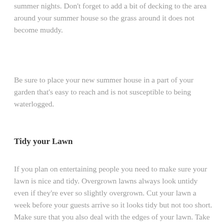summer nights. Don't forget to add a bit of decking to the area around your summer house so the grass around it does not become muddy.
Be sure to place your new summer house in a part of your garden that's easy to reach and is not susceptible to being waterlogged.
Tidy your Lawn
If you plan on entertaining people you need to make sure your lawn is nice and tidy. Overgrown lawns always look untidy even if they're ever so slightly overgrown. Cut your lawn a week before your guests arrive so it looks tidy but not too short. Make sure that you also deal with the edges of your lawn. Take an edging tool and tidy the grass that meets the borders and any paths. Once you've used your edging tool take a spade and get rid of any loose bits of lawn. Your